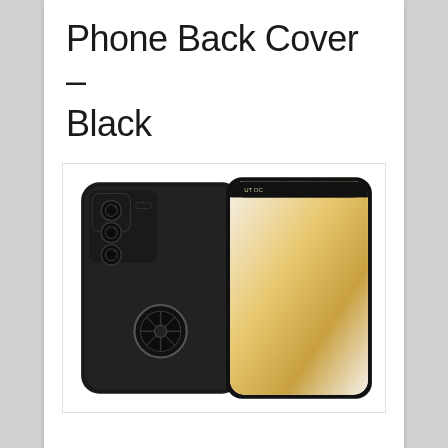Phone Back Cover – Black
[Figure (photo): Product photo of a black phone back cover case with a ring holder/stand on the back, shown alongside the front view of the phone displaying a white and gold wallpaper]